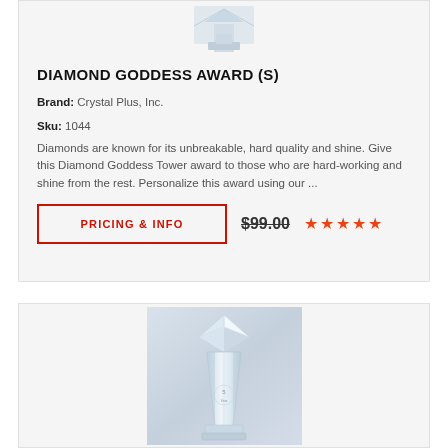[Figure (photo): Product image of Diamond Goddess Award top portion (crystal award), partially visible at top of first card]
DIAMOND GODDESS AWARD (S)
Brand: Crystal Plus, Inc.
Sku: 1044
Diamonds are known for its unbreakable, hard quality and shine. Give this Diamond Goddess Tower award to those who are hard-working and shine from the rest. Personalize this award using our ...
PRICING & INFO
$99.00
[Figure (photo): Crystal Diamond Goddess Award tower trophy with diamond-shaped top on a pedestal base, engraved with a 5-year service milestone]